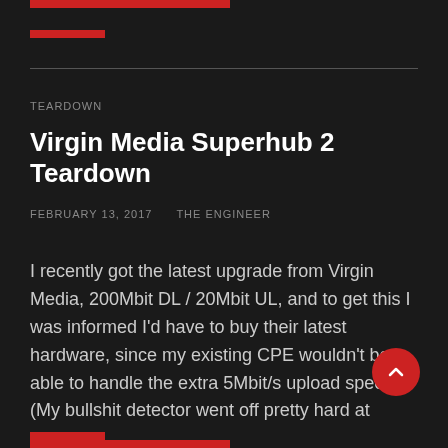TEARDOWN
Virgin Media Superhub 2 Teardown
FEBRUARY 13, 2017    THE ENGINEER
I recently got the latest upgrade from Virgin Media, 200Mbit DL / 20Mbit UL, and to get this I was informed I'd have to buy their latest hardware, since my existing CPE wouldn't be able to handle the extra 5Mbit/s upload speed. (My bullshit detector went off pretty hard at